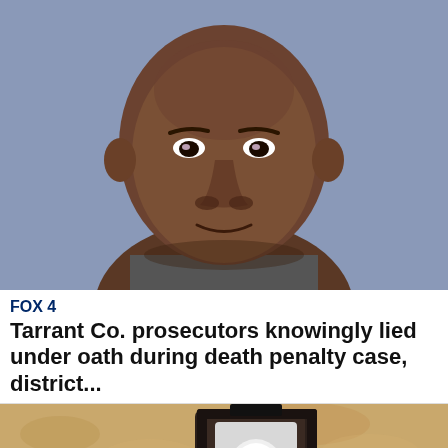[Figure (photo): Mugshot of a man against a blue-grey background, close-up of his face looking forward]
FOX 4
Tarrant Co. prosecutors knowingly lied under oath during death penalty case, district...
[Figure (photo): Close-up photo of a wall-mounted outdoor light fixture with a white bulb against a textured beige stucco wall]